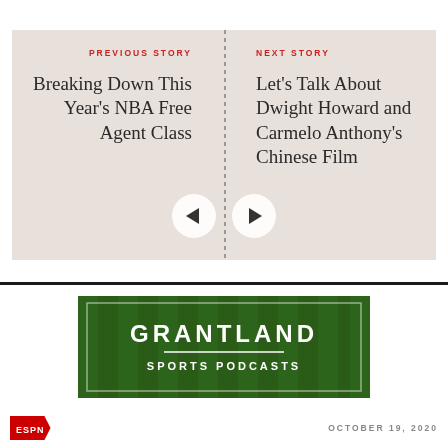PREVIOUS STORY
Breaking Down This Year's NBA Free Agent Class
NEXT STORY
Let's Talk About Dwight Howard and Carmelo Anthony's Chinese Film
[Figure (other): Grantland Sports Podcasts banner advertisement with grass/turf background and white text]
OCTOBER 19, 2020